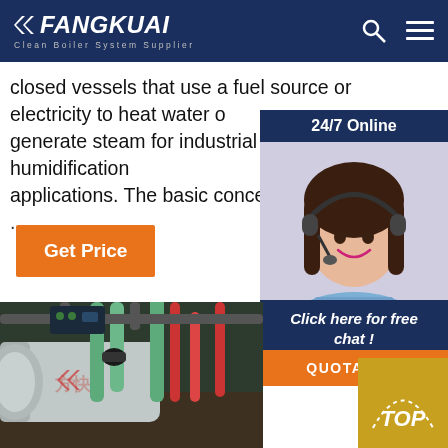FANGKUAI - Clean Boiler System Supplier
closed vessels that use a fuel source or electricity to heat water or generate steam for industrial heating and humidification applications. The basic concept of a boiler invol...
[Figure (photo): Customer service agent with headset, 24/7 online support widget with dark blue background]
[Figure (photo): Industrial boiler equipment with green and red pipes in a facility]
[Figure (other): Click here for free chat quotation widget and TOP navigation button]